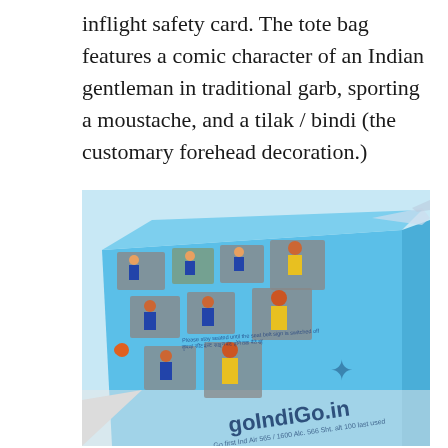inflight safety card. The tote bag features a comic character of an Indian gentleman in traditional garb, sporting a moustache, and a tilak / bindi (the customary forehead decoration.)
[Figure (photo): A blue tote bag designed like an inflight safety card for IndiGo airline (goIndiGo.in), featuring comic-style illustrations of a mustachioed Indian gentleman in traditional garb demonstrating safety procedures, with the goIndiGo.in logo visible.]